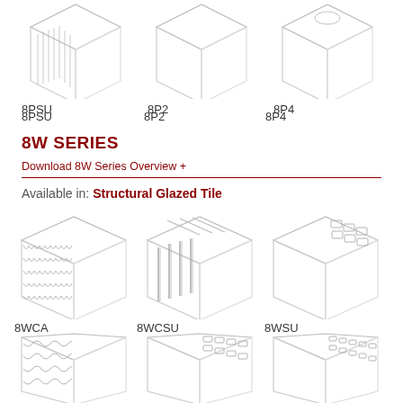[Figure (illustration): Isometric drawing of 8PSU structural glazed tile block with vertical ribbed front face]
[Figure (illustration): Isometric drawing of 8P2 structural glazed tile block, plain rectangular]
[Figure (illustration): Isometric drawing of 8P4 structural glazed tile block, plain rectangular with slightly different proportions]
8PSU
8P2
8P4
8W SERIES
Download 8W Series Overview +
Available in: Structural Glazed Tile
[Figure (illustration): Isometric drawing of 8WCA structural glazed tile block with corrugated/ribbed side surface]
[Figure (illustration): Isometric drawing of 8WCSU structural glazed tile block with deep vertical channel ribs]
[Figure (illustration): Isometric drawing of 8WSU structural glazed tile block with rectangular recesses on top face]
8WCA
8WCSU
8WSU
[Figure (illustration): Isometric drawing of bottom-row left structural glazed tile block with wavy ribbed surface]
[Figure (illustration): Isometric drawing of bottom-row center structural glazed tile block with rectangular slot recesses]
[Figure (illustration): Isometric drawing of bottom-row right structural glazed tile block with rectangular slot recesses and different profile]